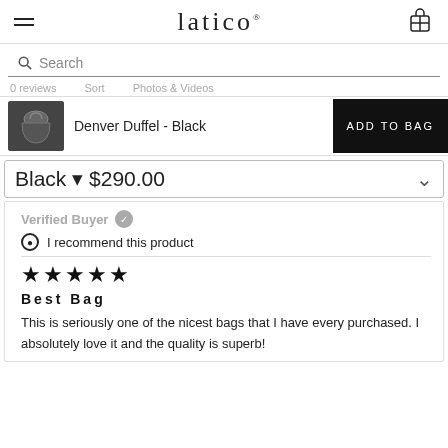latico
Search
Oereviews  Sort  Photos & Videos
Denver Duffel - Black  ADD TO BAG
Black - $290.00
Verified Buyer
I recommend this product
★★★★★
Best Bag
This is seriously one of the nicest bags that I have every purchased. I absolutely love it and the quality is superb!